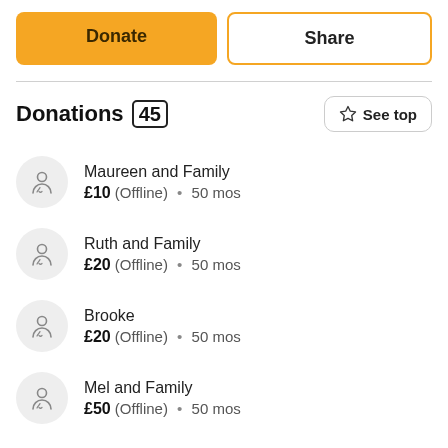Donate
Share
Donations (45)
See top
Maureen and Family £10 (Offline) • 50 mos
Ruth and Family £20 (Offline) • 50 mos
Brooke £20 (Offline) • 50 mos
Mel and Family £50 (Offline) • 50 mos